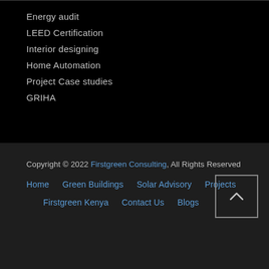Energy audit
LEED Certification
Interior designing
Home Automation
Project Case studies
GRIHA
Copyright © 2022 Firstgreen Consulting, All Rights Reserved
Home   Green Buildings   Solar Advisory   Projects   Firstgreen Kenya   Contact Us   Blogs